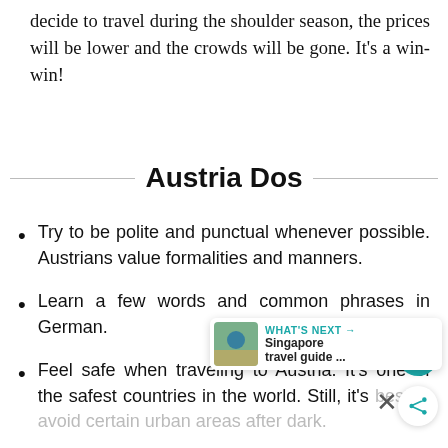decide to travel during the shoulder season, the prices will be lower and the crowds will be gone. It’s a win-win!
Austria Dos
Try to be polite and punctual whenever possible. Austrians value formalities and manners.
Learn a few words and common phrases in German.
Feel safe when traveling to Austria. It’s one of the safest countries in the world. Still, it’s best to avoid certain urban areas after dark.